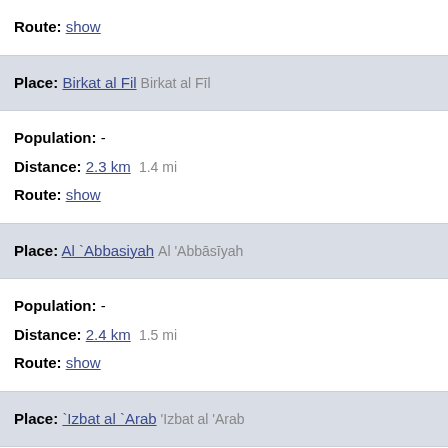Route: show
Place: Birkat al Fil  Birkat al Fīl
Population: -
Distance: 2.3 km  1.4 mi
Route: show
Place: Al `Abbasiyah  Al 'Abbāsīyah
Population: -
Distance: 2.4 km  1.5 mi
Route: show
Place: `Izbat al `Arab  'Izbat al 'Arab
Population: -
Distance: 2.4 km  1.5 mi